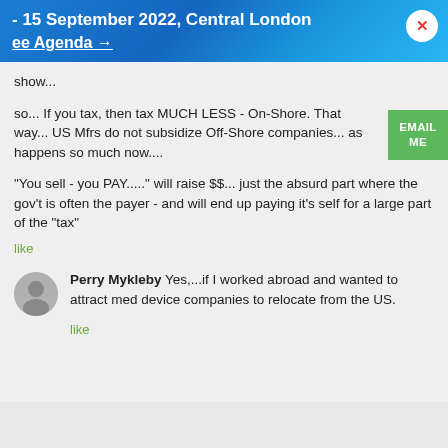- 15 September 2022, Central London
ee Agenda →
show...
so... If you tax, then tax MUCH LESS - On-Shore. That way... US Mfrs do not subsidize Off-Shore companies... as happens so much now....
"You sell - you PAY....." will raise $$... just the absurd part where the gov't is often the payer - and will end up paying it's self for a large part of the "tax"
like
Perry Mykleby Yes,...if I worked abroad and wanted to attract med device companies to relocate from the US.
like